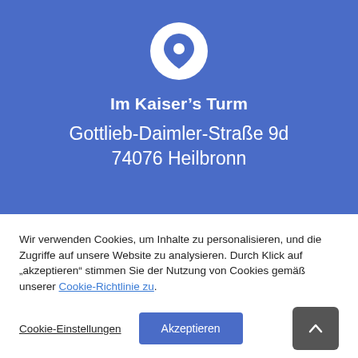[Figure (illustration): White location pin icon on blue circular background]
Im Kaiser’s Turm
Gottlieb-Daimler-Straße 9d
74076 Heilbronn
Wir verwenden Cookies, um Inhalte zu personalisieren, und die Zugriffe auf unsere Website zu analysieren. Durch Klick auf „akzeptieren“ stimmen Sie der Nutzung von Cookies gemäß unserer Cookie-Richtlinie zu.
Cookie-Einstellungen | Akzeptieren